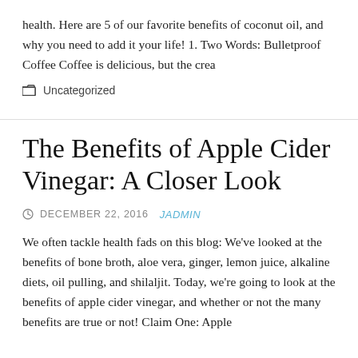health. Here are 5 of our favorite benefits of coconut oil, and why you need to add it your life! 1. Two Words: Bulletproof Coffee Coffee is delicious, but the crea
Uncategorized
The Benefits of Apple Cider Vinegar: A Closer Look
DECEMBER 22, 2016  JADMIN
We often tackle health fads on this blog: We've looked at the benefits of bone broth, aloe vera, ginger, lemon juice, alkaline diets, oil pulling, and shilaljit. Today, we're going to look at the benefits of apple cider vinegar, and whether or not the many benefits are true or not! Claim One: Apple